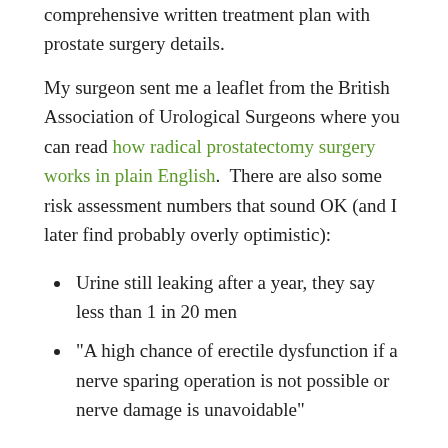comprehensive written treatment plan with prostate surgery details.
My surgeon sent me a leaflet from the British Association of Urological Surgeons where you can read how radical prostatectomy surgery works in plain English.  There are also some risk assessment numbers that sound OK (and I later find probably overly optimistic):
Urine still leaking after a year, they say less than 1 in 20 men
“A high chance of erectile dysfunction if a nerve sparing operation is not possible or nerve damage is unavoidable”
At...